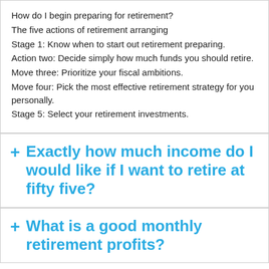How do I begin preparing for retirement?
The five actions of retirement arranging
Stage 1: Know when to start out retirement preparing.
Action two: Decide simply how much funds you should retire.
Move three: Prioritize your fiscal ambitions.
Move four: Pick the most effective retirement strategy for you personally.
Stage 5: Select your retirement investments.
+ Exactly how much income do I would like if I want to retire at fifty five?
+ What is a good monthly retirement profits?